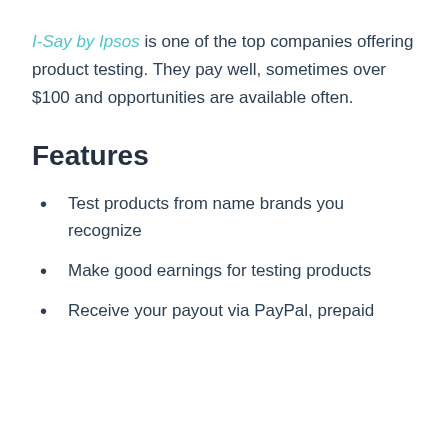I-Say by Ipsos is one of the top companies offering product testing. They pay well, sometimes over $100 and opportunities are available often.
Features
Test products from name brands you recognize
Make good earnings for testing products
Receive your payout via PayPal, prepaid